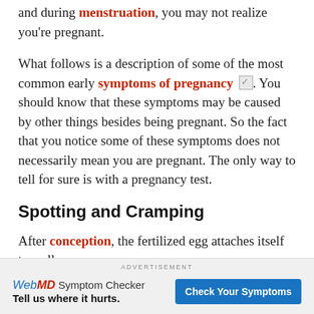and during menstruation, you may not realize you're pregnant.
What follows is a description of some of the most common early symptoms of pregnancy. You should know that these symptoms may be caused by other things besides being pregnant. So the fact that you notice some of these symptoms does not necessarily mean you are pregnant. The only way to tell for sure is with a pregnancy test.
Spotting and Cramping
After conception, the fertilized egg attaches itself to wall
ADVERTISEMENT
WebMD Symptom Checker Tell us where it hurts. Check Your Symptoms